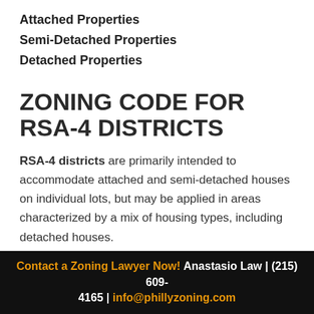Attached Properties
Semi-Detached Properties
Detached Properties
ZONING CODE FOR RSA-4 DISTRICTS
RSA-4 districts are primarily intended to accommodate attached and semi-detached houses on individual lots, but may be applied in areas characterized by a mix of housing types, including detached houses.
Contact a Zoning Lawyer Now! Anastasio Law | (215) 609-4165 | info@phillyzoning.com